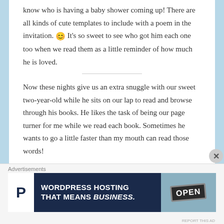know who is having a baby shower coming up! There are all kinds of cute templates to include with a poem in the invitation. 😊 It's so sweet to see who got him each one too when we read them as a little reminder of how much he is loved.
Now these nights give us an extra snuggle with our sweet two-year-old while he sits on our lap to read and browse through his books. He likes the task of being our page turner for me while we read each book. Sometimes he wants to go a little faster than my mouth can read those words!
Advertisements
[Figure (infographic): Advertisement banner for WordPress Hosting with dark navy background, white P logo box, text 'WORDPRESS HOSTING THAT MEANS BUSINESS.' and an image of an Open sign]